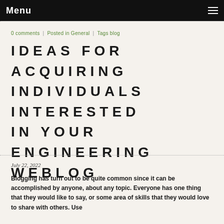Menu
0 comments   Posted in General   Tags blog
IDEAS FOR ACQUIRING INDIVIDUALS INTERESTED IN YOUR ENGINEERING WEBLOG
July 22, 2022
Blogging has turn out to be quite common since it can be accomplished by anyone, about any topic. Everyone has one thing that they would like to say, or some area of skills that they would love to share with others. Use